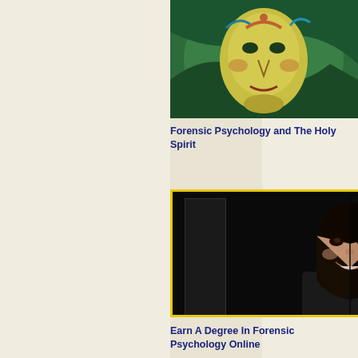[Figure (screenshot): Video thumbnail showing a colorful mask painting on the left half and black background with yellow text 'Forensic Psychology and The Holy Spirit' on the right half, with a play button]
Forensic Psychology and The Holy Spirit
[Figure (screenshot): Video thumbnail with yellow border showing a split composite portrait of a smiling woman with dark hair against a dark door/window background, with a play button]
Earn A Degree In Forensic Psychology Online